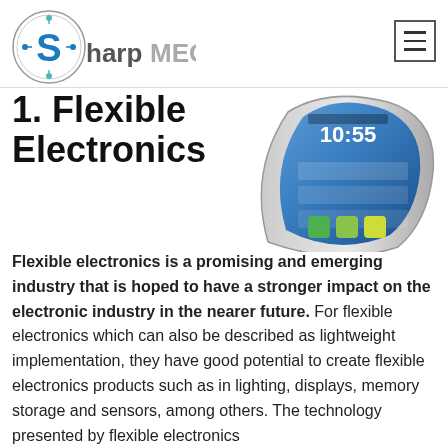[Figure (logo): SharpMEG logo with stylized S icon and text 'Sharp MEG']
[Figure (other): Hamburger menu icon (three horizontal lines) in a square border]
1. Flexible Electronics
[Figure (photo): A flexible smartphone/tablet device bent into a curve, showing a home screen with time 10:55, demonstrating flexible display technology]
Flexible electronics is a promising and emerging industry that is hoped to have a stronger impact on the electronic industry in the nearer future. For flexible electronics which can also be described as lightweight implementation, they have good potential to create flexible electronics products such as in lighting, displays, memory storage and sensors, among others. The technology presented by flexible electronics